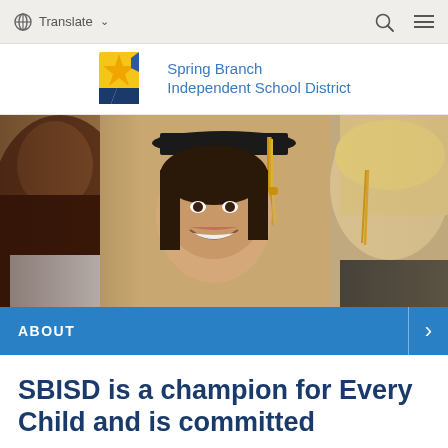Translate
[Figure (logo): Spring Branch Independent School District logo with yellow starburst and blue shapes]
[Figure (photo): Smiling female graduate in black cap with gold tassel, flanked by other graduates in soft focus, warm indoor background]
ABOUT
SBISD is a champion for Every Child and is committed